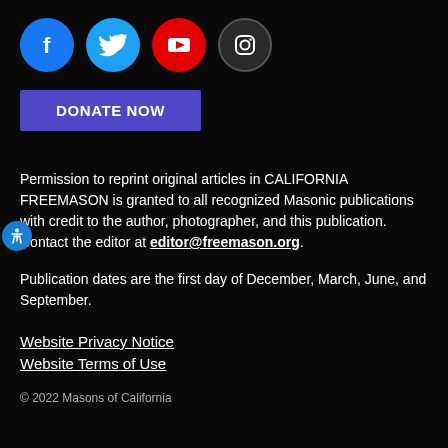[Figure (illustration): Row of four social media icons: Facebook (blue circle), Twitter (blue circle), YouTube (red circle), Instagram (dark circle with outline).]
[Figure (illustration): Purple rectangular button labeled DONATE NOW in bold white uppercase text.]
Permission to reprint original articles in CALIFORNIA FREEMASON is granted to all recognized Masonic publications with credit to the author, photographer, and this publication. Contact the editor at editor@freemason.org.
Publication dates are the first day of December, March, June, and September.
Website Privacy Notice
Website Terms of Use
© 2022 Masons of California